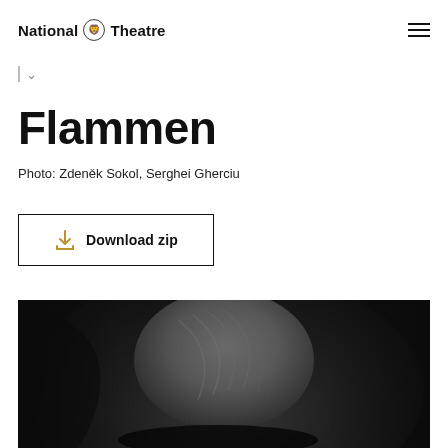National Theatre
Flammen
Photo: Zdeněk Sokol, Serghei Gherciu
Download zip
[Figure (photo): Black and white theatrical photo showing a person in dramatic costume with feathers, against a dark background]